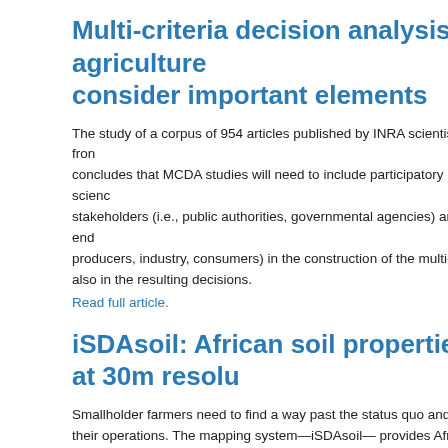Multi-criteria decision analysis in agriculture consider important elements
The study of a corpus of 954 articles published by INRA scientists from concludes that MCDA studies will need to include participatory science stakeholders (i.e., public authorities, governmental agencies) and end producers, industry, consumers) in the construction of the multi-criteria also in the resulting decisions.
Read full article.
iSDAsoil: African soil properties at 30m resolu
Smallholder farmers need to find a way past the status quo and a path their operations. The mapping system—iSDAsoil— provides African s resolution, and advisory services possible at the level of the single s iSDA's ultimate goal is to help smallholders develop long-term sustain was founded by three research institutes—Rothamsted Research, the Centre (ICRAF) and the International Institute of Tropical Agriculture (II
Read full article.
Ecosystem for FAIR Data for Cross Domain Re
Have a look at a very packed page on the challenge around data with